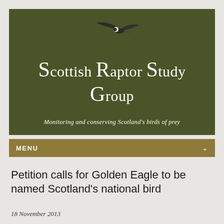[Figure (logo): Scottish Raptor Study Group banner with dark olive green background, eagle silhouette at top, organization name in large serif white text, and italic tagline below]
MENU
Petition calls for Golden Eagle to be named Scotland's national bird
18 November 2013